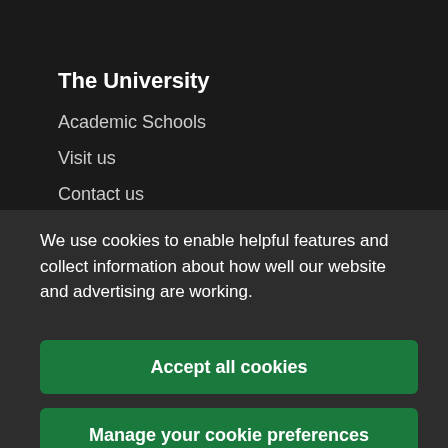The University
Academic Schools
Visit us
Contact us
We use cookies to enable helpful features and collect information about how well our website and advertising are working.
Accept all cookies
Manage your cookie preferences